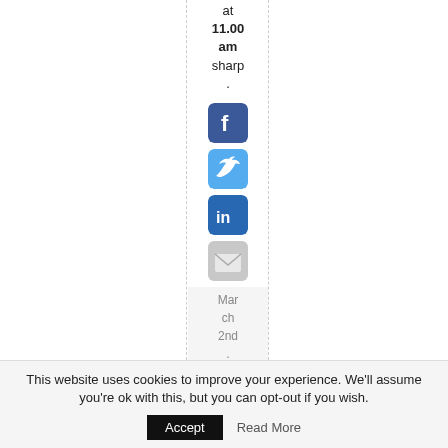at 11.00 am sharp .
[Figure (infographic): Social media share icons: Facebook (blue), Twitter (light blue), LinkedIn (dark blue), Email (gray)]
March 2nd . 2014 | Catego
This website uses cookies to improve your experience. We'll assume you're ok with this, but you can opt-out if you wish.
Accept   Read More